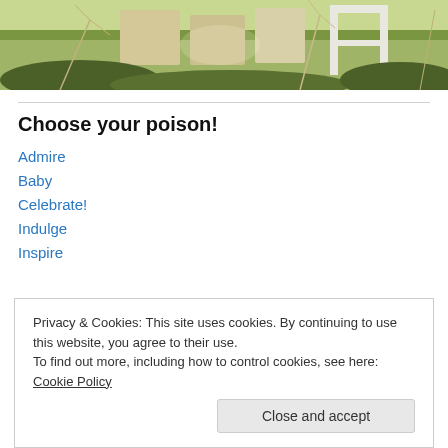[Figure (photo): Outdoor photo of beehives or wooden structures among overgrown grass and bare branches, with natural light.]
Choose your poison!
Admire
Baby
Celebrate!
Indulge
Inspire
Privacy & Cookies: This site uses cookies. By continuing to use this website, you agree to their use.
To find out more, including how to control cookies, see here: Cookie Policy
Close and accept